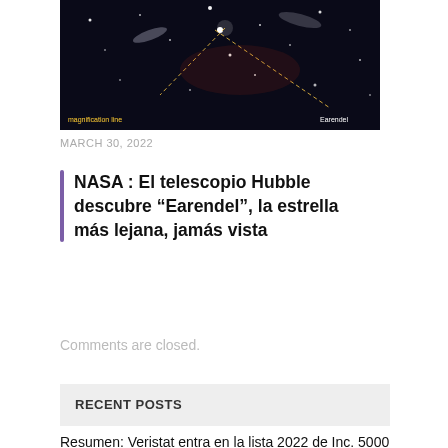[Figure (photo): Dark space/astronomy image showing stars and galaxies with labels 'magnification line' and 'Earendel' overlaid in orange/yellow and white text]
MARCH 30, 2022
NASA : El telescopio Hubble descubre “Earendel”, la estrella más lejana, jamás vista
Comments are closed.
RECENT POSTS
Resumen: Veristat entra en la lista 2022 de Inc. 5000 de las empresas privadas de más rápido crecimiento de Estados Unidos